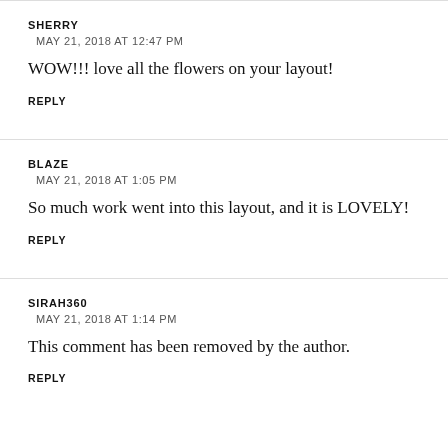SHERRY
MAY 21, 2018 AT 12:47 PM
WOW!!! love all the flowers on your layout!
REPLY
BLAZE
MAY 21, 2018 AT 1:05 PM
So much work went into this layout, and it is LOVELY!
REPLY
SIRAH360
MAY 21, 2018 AT 1:14 PM
This comment has been removed by the author.
REPLY